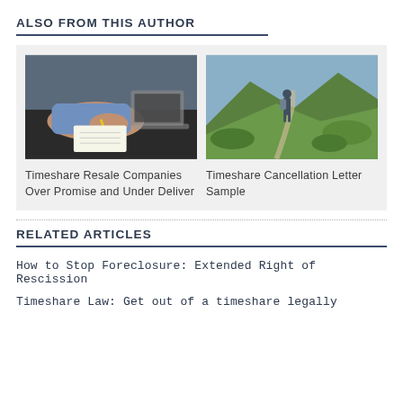ALSO FROM THIS AUTHOR
[Figure (photo): Person writing at a desk with laptop in background]
Timeshare Resale Companies Over Promise and Under Deliver
[Figure (photo): Person with backpack hiking on a mountain trail]
Timeshare Cancellation Letter Sample
RELATED ARTICLES
How to Stop Foreclosure: Extended Right of Rescission
Timeshare Law: Get out of a timeshare legally